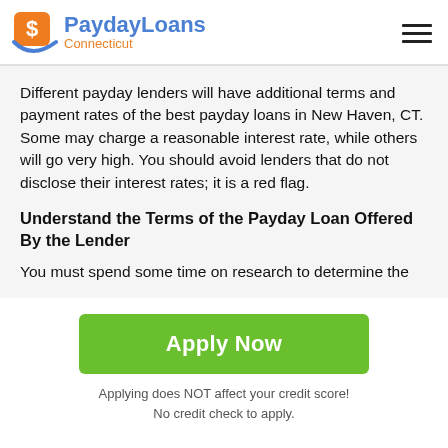PaydayLoans Connecticut
Different payday lenders will have additional terms and payment rates of the best payday loans in New Haven, CT. Some may charge a reasonable interest rate, while others will go very high. You should avoid lenders that do not disclose their interest rates; it is a red flag.
Understand the Terms of the Payday Loan Offered By the Lender
You must spend some time on research to determine the
Apply Now
Applying does NOT affect your credit score!
No credit check to apply.